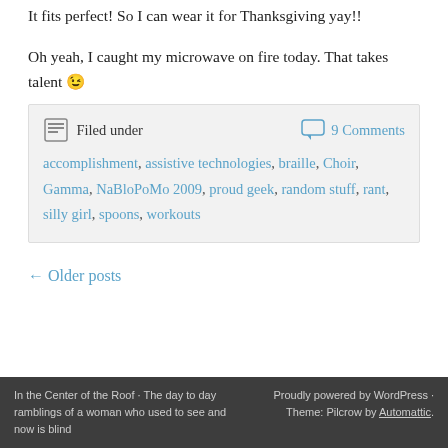It fits perfect! So I can wear it for Thanksgiving yay!!
Oh yeah, I caught my microwave on fire today. That takes talent 😉
Filed under accomplishment, assistive technologies, braille, Choir, Gamma, NaBloPoMo 2009, proud geek, random stuff, rant, silly girl, spoons, workouts | 9 Comments
← Older posts
In the Center of the Roof · The day to day ramblings of a woman who used to see and now is blind | Proudly powered by WordPress · Theme: Pilcrow by Automattic.